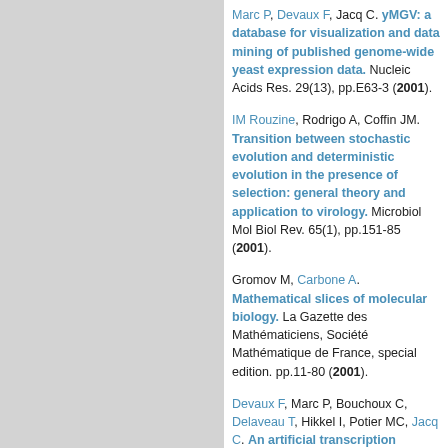Marc P, Devaux F, Jacq C. yMGV: a database for visualization and data mining of published genome-wide yeast expression data. Nucleic Acids Res. 29(13), pp.E63-3 (2001).
IM Rouzine, Rodrigo A, Coffin JM. Transition between stochastic evolution and deterministic evolution in the presence of selection: general theory and application to virology. Microbiol Mol Biol Rev. 65(1), pp.151-85 (2001).
Gromov M, Carbone A. Mathematical slices of molecular biology. La Gazette des Mathématiciens, Société Mathématique de France, special edition. pp.11-80 (2001).
Devaux F, Marc P, Bouchoux C, Delaveau T, Hikkel I, Potier MC, Jacq C. An artificial transcription activator mimics the genome-wide properties of the yeast Pdr1 transcription factor. EMBO Rep. 2(6), pp.493-8 (2001).